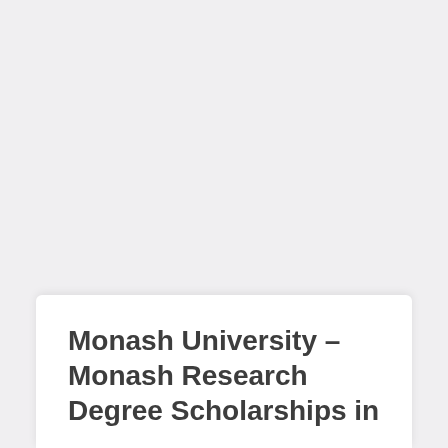Monash University – Monash Research Degree Scholarships in